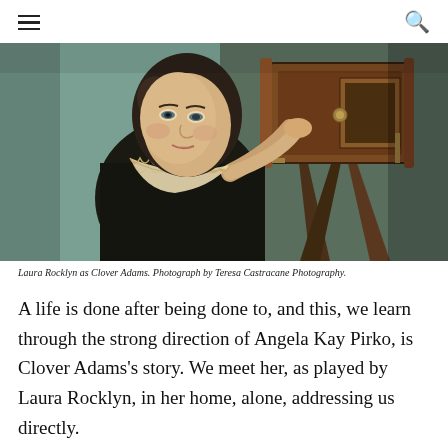[Figure (photo): Laura Rocklyn as Clover Adams, a woman in a dark Victorian dress with a lace collar, standing next to a large wooden camera on a tripod, looking intently forward.]
Laura Rocklyn as Clover Adams. Photograph by Teresa Castracane Photography.
A life is done after being done to, and this, we learn through the strong direction of Angela Kay Pirko, is Clover Adams’s story. We meet her, as played by Laura Rocklyn, in her home, alone, addressing us directly.